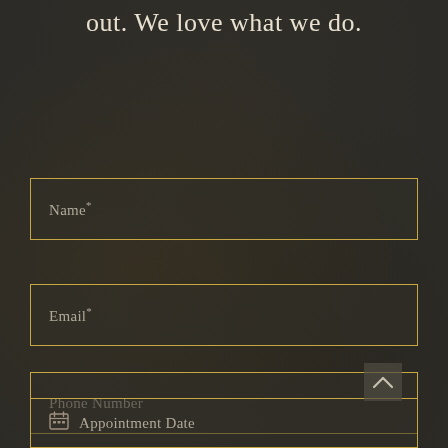out. We love what we do.
Name*
Email*
Phone Number
Appointment Date